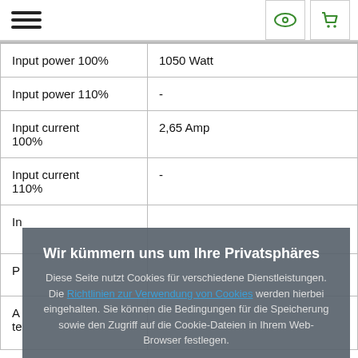Navigation hamburger menu, eye icon button, cart icon button
| Property | Value |
| --- | --- |
| Input power 100% | 1050 Watt |
| Input power 110% | - |
| Input current 100% | 2,65 Amp |
| Input current 110% | - |
|  |  |
| P |  |
| A  te |  |
Wir kümmern uns um Ihre Privatsphäres
Diese Seite nutzt Cookies für verschiedene Dienstleistungen. Die Richtlinien zur Verwendung von Cookies werden hierbei eingehalten. Sie können die Bedingungen für die Speicherung sowie den Zugriff auf die Cookie-Dateien in Ihrem Web-Browser festlegen.
Schließen